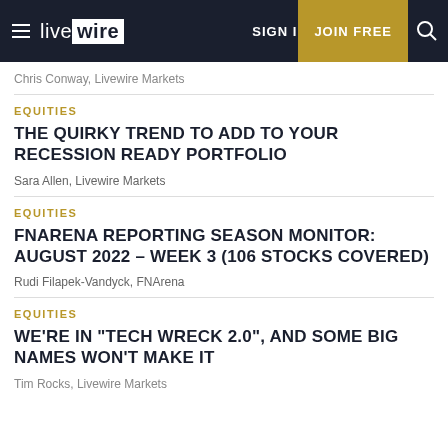livewire | SIGN IN | JOIN FREE
Chris Conway, Livewire Markets
EQUITIES
THE QUIRKY TREND TO ADD TO YOUR RECESSION READY PORTFOLIO
Sara Allen, Livewire Markets
EQUITIES
FNARENA REPORTING SEASON MONITOR: AUGUST 2022 – WEEK 3 (106 STOCKS COVERED)
Rudi Filapek-Vandyck, FNArena
EQUITIES
WE'RE IN "TECH WRECK 2.0", AND SOME BIG NAMES WON'T MAKE IT
Tim Rocks, Livewire Markets